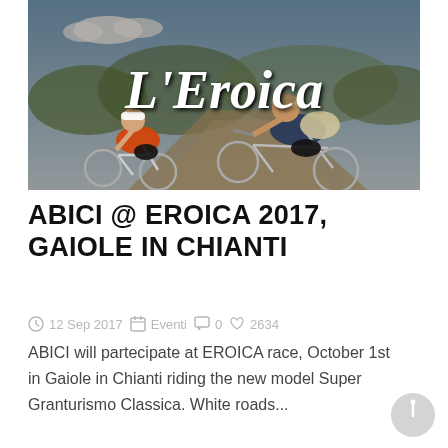[Figure (photo): Two cyclists racing on vintage road bicycles on a gravel path with trees and hills in background. White cursive text 'L'Eroica' overlaid on the image.]
ABICI @ EROICA 2017, GAIOLE IN CHIANTI
12 Sep 2017  Eventi  0  2634
ABICI will partecipate at EROICA race, October 1st in Gaiole in Chianti riding the new model Super Granturismo Classica. White roads...